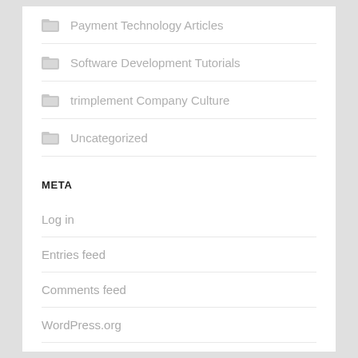Payment Technology Articles
Software Development Tutorials
trimplement Company Culture
Uncategorized
META
Log in
Entries feed
Comments feed
WordPress.org